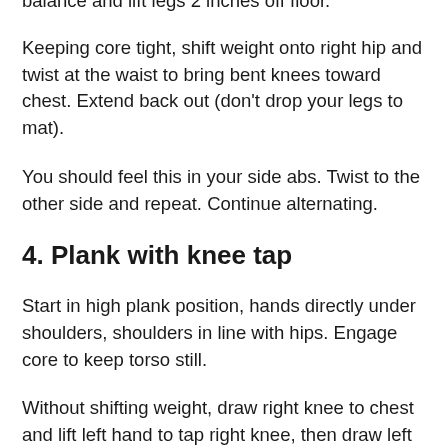balance and lift legs 2 inches off floor.
Keeping core tight, shift weight onto right hip and twist at the waist to bring bent knees toward chest. Extend back out (don’t drop your legs to mat).
You should feel this in your side abs. Twist to the other side and repeat. Continue alternating.
4. Plank with knee tap
Start in high plank position, hands directly under shoulders, shoulders in line with hips. Engage core to keep torso still.
Without shifting weight, draw right knee to chest and lift left hand to tap right knee, then draw left knee to chest